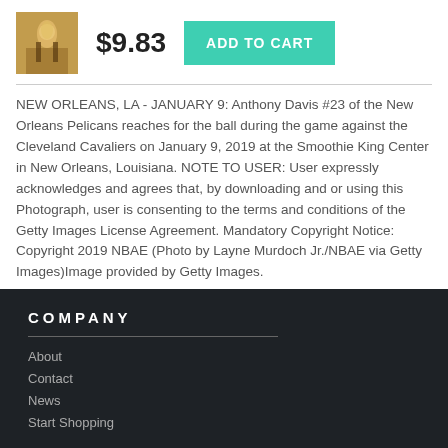[Figure (photo): Basketball player reaching for the ball, product thumbnail image]
$9.83
ADD TO CART
NEW ORLEANS, LA - JANUARY 9: Anthony Davis #23 of the New Orleans Pelicans reaches for the ball during the game against the Cleveland Cavaliers on January 9, 2019 at the Smoothie King Center in New Orleans, Louisiana. NOTE TO USER: User expressly acknowledges and agrees that, by downloading and or using this Photograph, user is consenting to the terms and conditions of the Getty Images License Agreement. Mandatory Copyright Notice: Copyright 2019 NBAE (Photo by Layne Murdoch Jr./NBAE via Getty Images)Image provided by Getty Images.
COMPANY
About
Contact
News
Start Shopping